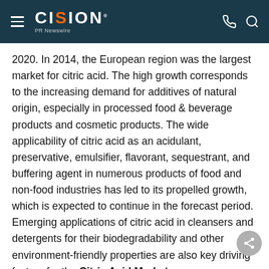CISION PR Newswire
2020. In 2014, the European region was the largest market for citric acid. The high growth corresponds to the increasing demand for additives of natural origin, especially in processed food & beverage products and cosmetic products. The wide applicability of citric acid as an acidulant, preservative, emulsifier, flavorant, sequestrant, and buffering agent in numerous products of food and non-food industries has led to its propelled growth, which is expected to continue in the forecast period. Emerging applications of citric acid in cleansers and detergents for their biodegradability and other environment-friendly properties are also key driving factors for the Citric Acid Market